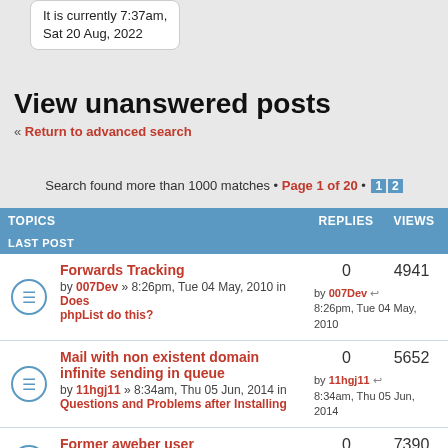It is currently 7:37am, Sat 20 Aug, 2022
View unanswered posts
« Return to advanced search
Search found more than 1000 matches • Page 1 of 20 • 1 2
| TOPICS | REPLIES | VIEWS | LAST POST |
| --- | --- | --- | --- |
| Forwards Tracking by 007Dev » 8:26pm, Tue 04 May, 2010 in Does phpList do this? | 0 | 4941 | by 007Dev 8:26pm, Tue 04 May, 2010 |
| Mail with non existent domain infinite sending in queue by 11hgj11 » 8:34am, Thu 05 Jun, 2014 in Questions and Problems after Installing | 0 | 5652 | by 11hgj11 8:34am, Thu 05 Jun, 2014 |
| Former aweber user by 123sale » 9:15am, Thu 07 Apr, 2011 in Other | 0 | 7390 | by 123sale |